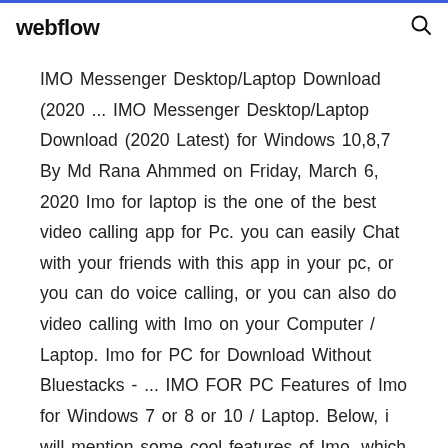webflow
IMO Messenger Desktop/Laptop Download (2020 ... IMO Messenger Desktop/Laptop Download (2020 Latest) for Windows 10,8,7 By Md Rana Ahmmed on Friday, March 6, 2020 Imo for laptop is the one of the best video calling app for Pc. you can easily Chat with your friends with this app in your pc, or you can do voice calling, or you can also do video calling with Imo on your Computer / Laptop. Imo for PC for Download Without Bluestacks - ... IMO FOR PC Features of Imo for Windows 7 or 8 or 10 / Laptop. Below, i will mention some cool features of Imo, which you can feel while using imo on your Pc or Computer / Laptop. so must read below features of Imo for Pc and computer